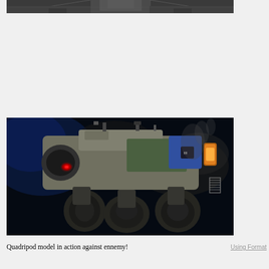[Figure (photo): Partial top view of a mechanical/spacecraft structure, dark metallic, industrial look, cropped at top of page]
[Figure (photo): A quadripod robot/mech unit in action, set against a dark smoky background, with glowing red eye/sensor and orange thruster, blue and green markings on its body, robotic legs visible below]
Quadripod model in action against ennemy!
Using Format